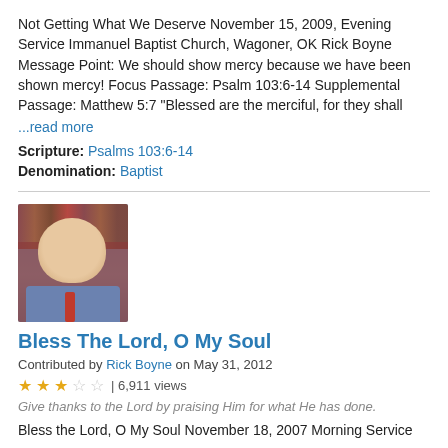Not Getting What We Deserve November 15, 2009, Evening Service Immanuel Baptist Church, Wagoner, OK Rick Boyne Message Point: We should show mercy because we have been shown mercy! Focus Passage: Psalm 103:6-14 Supplemental Passage: Matthew 5:7 "Blessed are the merciful, for they shall
...read more
Scripture: Psalms 103:6-14
Denomination: Baptist
[Figure (photo): Portrait photo of Rick Boyne, a smiling middle-aged man in a blue sweater and red tie, seated in front of bookshelves]
Bless The Lord, O My Soul
Contributed by Rick Boyne on May 31, 2012
★★★☆☆ | 6,911 views
Give thanks to the Lord by praising Him for what He has done.
Bless the Lord, O My Soul November 18, 2007 Morning Service